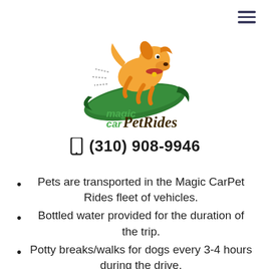[Figure (logo): Magic CarPet Rides logo: cartoon dog riding a flying green carpet with text 'magic carPetRides' in green and dark brown]
☎ (310) 908-9946
Pets are transported in the Magic CarPet Rides fleet of vehicles.
Bottled water provided for the duration of the trip.
Potty breaks/walks for dogs every 3-4 hours during the drive.
Photographs and updates throughout the trip and on every